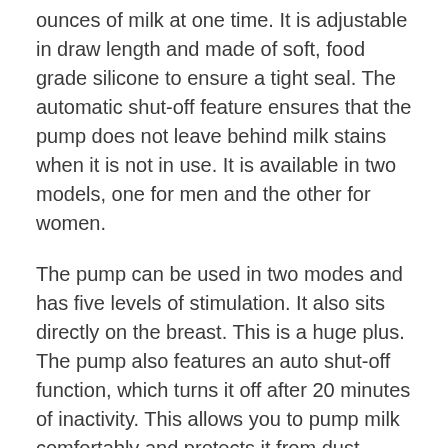ounces of milk at one time. It is adjustable in draw length and made of soft, food grade silicone to ensure a tight seal. The automatic shut-off feature ensures that the pump does not leave behind milk stains when it is not in use. It is available in two models, one for men and the other for women.
The pump can be used in two modes and has five levels of stimulation. It also sits directly on the breast. This is a huge plus. The pump also features an auto shut-off function, which turns it off after 20 minutes of inactivity. This allows you to pump milk comfortably and protects it from dust. Although this pump is not the most discreet, it is worth considering if you have a comfortable bra or can easily access a toilet.